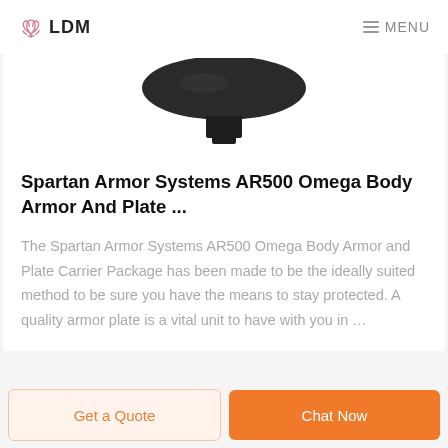LDM  MENU
[Figure (photo): Bottom portion of a dark-colored body armor plate carrier product on white background]
Spartan Armor Systems AR500 Omega Body Armor And Plate ...
The Spartan Armor Systems AR500 Omega Body Armor and Plate Carrier Package has been made to be the ideally suited method to be sure you have the means to stay protected. A quality armor plate is a vital unit to have with you in …
Get a Quote  Chat Now